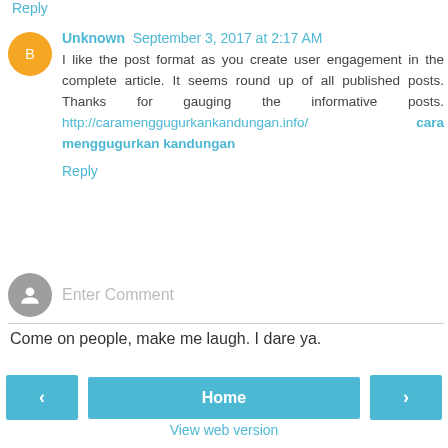Reply
Unknown September 3, 2017 at 2:17 AM
I like the post format as you create user engagement in the complete article. It seems round up of all published posts. Thanks for gauging the informative posts. http://caramenggugurkankandungan.info/ cara menggugurkan kandungan
Reply
Enter Comment
Come on people, make me laugh. I dare ya.
< Home > View web version